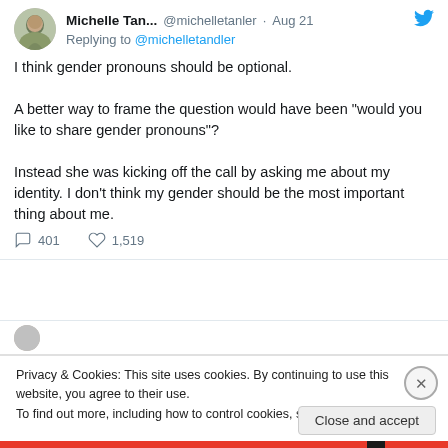[Figure (screenshot): Twitter/social media screenshot showing a tweet by Michelle Tan... (@michelletanler) dated Aug 21, replying to @michelletandler. Tweet text: 'I think gender pronouns should be optional. A better way to frame the question would have been "would you like to share gender pronouns"? Instead she was kicking off the call by asking me about my identity. I don't think my gender should be the most important thing about me.' With 401 replies and 1,519 likes.]
Privacy & Cookies: This site uses cookies. By continuing to use this website, you agree to their use. To find out more, including how to control cookies, see here: Cookie Policy
Close and accept